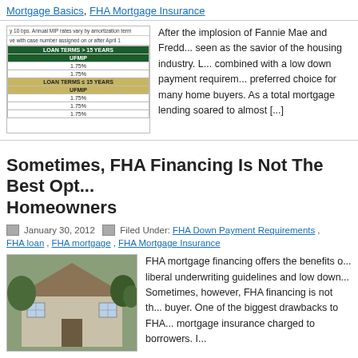Mortgage Basics, FHA Mortgage Insurance
[Figure (table-as-image): FHA MIP rate table showing LOAN TERMS > 15 YEARS with UFMIP values of 1.75% and LOAN TERMS ≤ 15 YEARS with UFMIP values of 1.75% for multiple rows]
After the implosion of Fannie Mae and Fredd... seen as the savior of the housing industry. L... combined with a low down payment requirem... preferred choice for many home buyers. As a total mortgage lending soared to almost [...]
Sometimes, FHA Financing Is Not The Best Opt... Homeowners
January 30, 2012  Filed Under: FHA Down Payment Requirements, FHA loan, FHA mortgage, FHA Mortgage Insurance
[Figure (photo): Photo of a two-story suburban house with trees in background]
FHA mortgage financing offers the benefits o... liberal underwriting guidelines and low down... Sometimes, however, FHA financing is not th... buyer. One of the biggest drawbacks to FHA... mortgage insurance charged to borrowers. I...